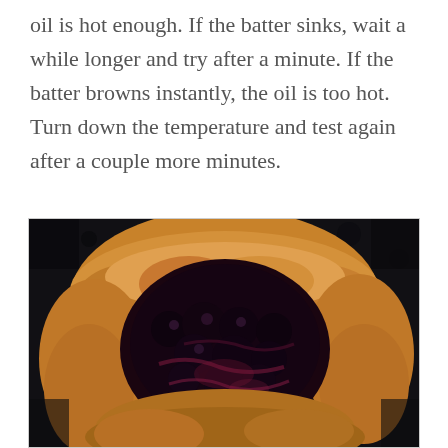oil is hot enough. If the batter sinks, wait a while longer and try after a minute. If the batter browns instantly, the oil is too hot. Turn down the temperature and test again after a couple more minutes.
[Figure (photo): Close-up photo of a fried dough ball or beignet split open revealing dark berry filling (blackberry or blueberry jam), with golden-brown crispy exterior, on a dark background.]